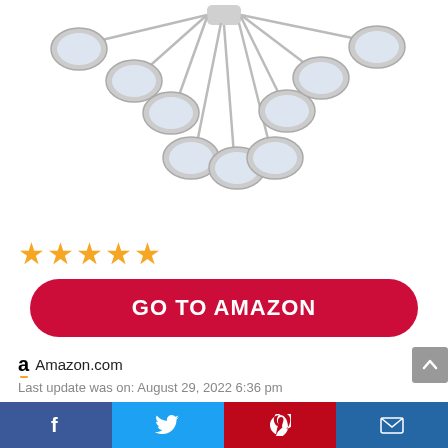[Figure (photo): Product photo of linkable LED puck lights connected by cables, arranged in an arc on white background]
[Figure (other): 5 orange/gold star rating icons]
GO TO AMAZON
Amazon.com
Last update was on: August 29, 2022 6:36 pm
# LINKABLE CONNECTION LED PUCK LIGHTS: linkable connection design makes the puck lights
[Figure (other): Social sharing bar with Facebook, Twitter, Pinterest, and Email buttons]